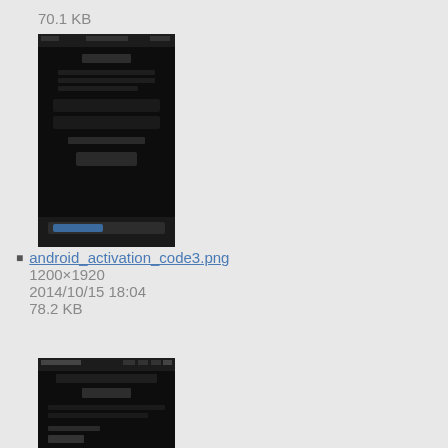70.1 KB
[Figure (screenshot): Android activation code screen 3 - dark UI mobile screenshot]
android_activation_code3.png
1200×1920
2014/10/15 18:04
78.2 KB
[Figure (screenshot): Android activation code testmode screen - PassSpan Mobile Profile screenshot]
android_activation_code_testmode.png
480×800
2014/05/08 22:17
47.3 KB
[Figure (screenshot): Partial Android screenshot at bottom of page]